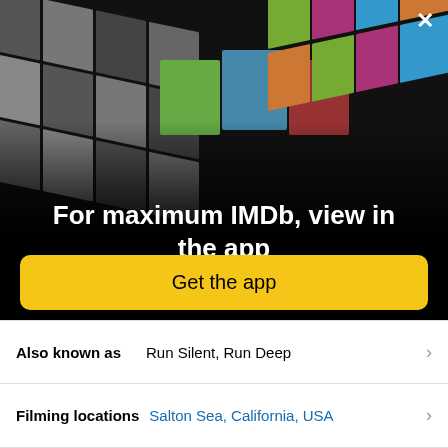[Figure (photo): IMDb app promotional collage showing a 3D perspective grid of celebrity photos and movie/TV show posters on a black background]
For maximum IMDb, view in the app
Get the app
Also known as   Run Silent, Run Deep
Filming locations   Salton Sea, California, USA